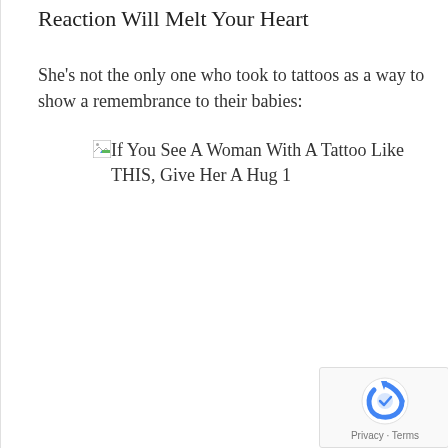Reaction Will Melt Your Heart
She's not the only one who took to tattoos as a way to show a remembrance to their babies:
[Figure (other): Broken image placeholder with alt text: If You See A Woman With A Tattoo Like THIS, Give Her A Hug 1]